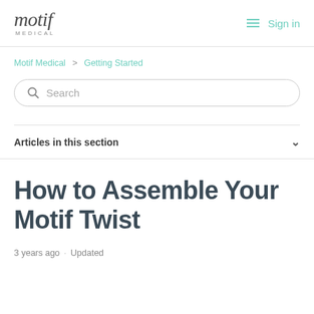motif MEDICAL — Sign in
Motif Medical > Getting Started
Search
Articles in this section
How to Assemble Your Motif Twist
3 years ago · Updated